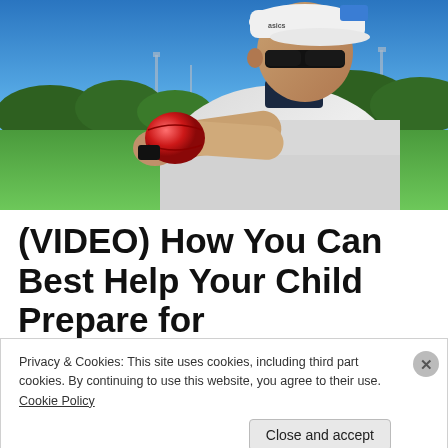[Figure (photo): A man wearing a white Asics cap and sunglasses, dressed in a light grey sweatshirt, holding a red ball (likely an Australian rules football) on an outdoor sports field with green grass, trees, and a clear blue sky in the background.]
(VIDEO) How You Can Best Help Your Child Prepare for
Privacy & Cookies: This site uses cookies, including third part cookies. By continuing to use this website, you agree to their use. Cookie Policy
Close and accept